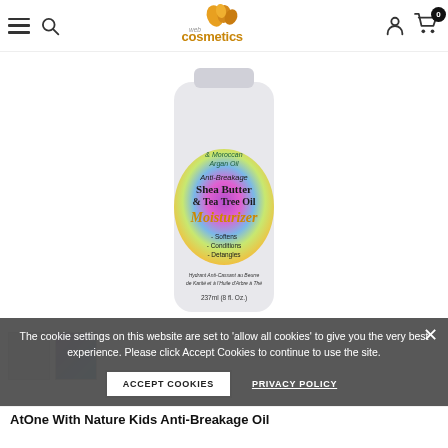WebCosmetics logo, hamburger menu, search, user account, cart (0)
[Figure (photo): Product bottle: Anti-Breakage Shea Butter & Tea Tree Oil Moisturizer with rainbow/holographic label. 237ml (8 fl. oz.). Text on label: 'Anti-Breakage Shea Butter & Tea Tree Oil Moisturizer - Softens - Conditions - Detangles. Hydrant Anti-Cassant au Beurre de Karité et à l'Huile d'Arbre à Thé'. Also shows '& Moroccan Argan Oil' at top.]
The cookie settings on this website are set to 'allow all cookies' to give you the very best experience. Please click Accept Cookies to continue to use the site.
AtOne With Nature Kids Anti-Breakage Oil